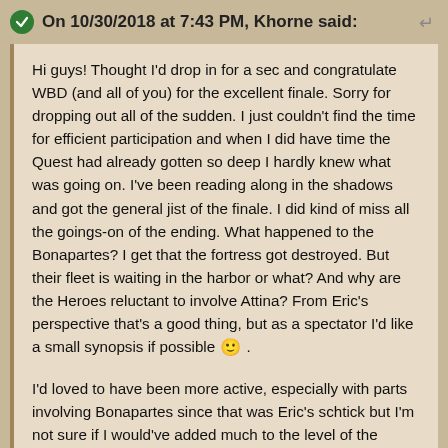On 10/30/2018 at 7:43 PM, Khorne said:
Hi guys! Thought I'd drop in for a sec and congratulate WBD (and all of you) for the excellent finale. Sorry for dropping out all of the sudden. I just couldn't find the time for efficient participation and when I did have time the Quest had already gotten so deep I hardly knew what was going on. I've been reading along in the shadows and got the general jist of the finale. I did kind of miss all the goings-on of the ending. What happened to the Bonapartes? I get that the fortress got destroyed. But their fleet is waiting in the harbor or what? And why are the Heroes reluctant to involve Attina? From Eric's perspective that's a good thing, but as a spectator I'd like a small synopsis if possible 🙂 .
I'd loved to have been more active, especially with parts involving Bonapartes since that was Eric's schtick but I'm not sure if I would've added much to the level of the finale. All roleplaying was great from the bits I've read (and the sets/characters were phenomenal) 👍. Time for Eric to close the Heroica door and get back the Merry